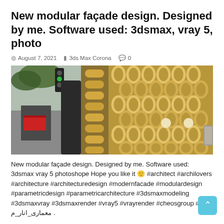New modular façade design. Designed by me. Software used: 3dsmax, vray 5, photo
August 7, 2021  3ds Max Corona  0
[Figure (photo): Architectural rendering of a modular façade design showing a golden/bronze parametric pattern alongside a street scene with a traffic light and urban background.]
New modular façade design. Designed by me. Software used: 3dsmax vray 5 photoshope Hope you like it 🙂 #architect #archilovers #architecture #architecturedesign #modernfacade #modulardesign #parametricdesign #parametricarchitecture #3dsmaxmodeling #3dsmaxvray #3dsmaxrender #vray5 #vrayrender #cheosgroup # معماری_انار_م .